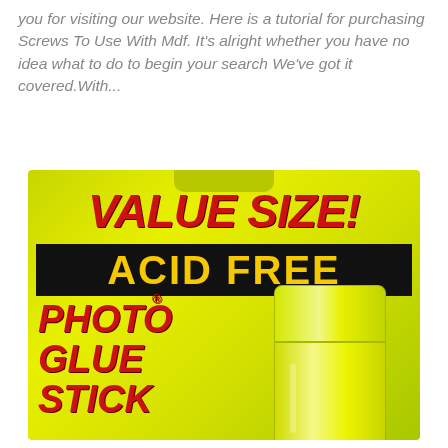you for visiting our website. Here is a tutorial for purchasing Screws To Use With Mdf. It's alright whether you have no idea what to do to begin your search We've got it covered.With...
[Figure (photo): Product photo of a yellow-green packaged 'Value Size! Acid Free Photo Glue Stick' showing bold red text for VALUE SIZE!, a black banner with yellow ACID FREE text, red italic text reading PHOTO GLUE STICK, and a yellow glue stick on the right side.]